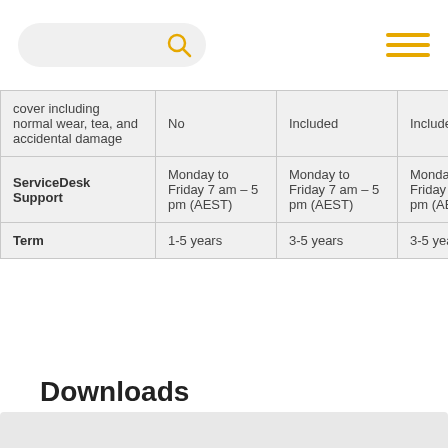Search bar and navigation menu
|  | Col1 | Col2 | Col3 | Col4 |
| --- | --- | --- | --- | --- |
| cover including normal wear, tea, and accidental damage | No | Included | Included | Includ... |
| ServiceDesk Support | Monday to Friday 7 am – 5 pm (AEST) | Monday to Friday 7 am – 5 pm (AEST) | Monday to Friday 7 am – 5 pm (AEST) | Monday to Friday 7 am – 5 pm (AEST) |
| Term | 1-5 years | 3-5 years | 3-5 years | 3-5 ye... |
Downloads
Dematic Hardware Support Services Flyer